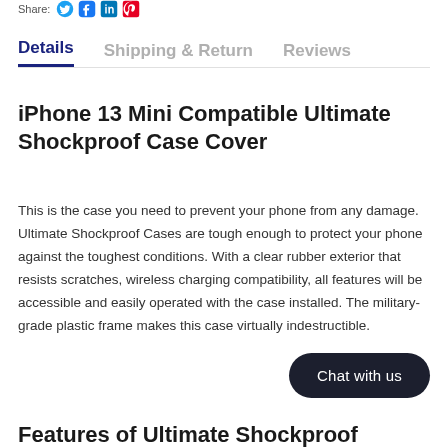Share:
Details	Shipping & Return	Reviews
iPhone 13 Mini Compatible Ultimate Shockproof Case Cover
This is the case you need to prevent your phone from any damage. Ultimate Shockproof Cases are tough enough to protect your phone against the toughest conditions. With a clear rubber exterior that resists scratches, wireless charging compatibility, all features will be accessible and easily operated with the case installed. The military-grade plastic frame makes this case virtually indestructible.
Chat with us
Features of Ultimate Shockproof